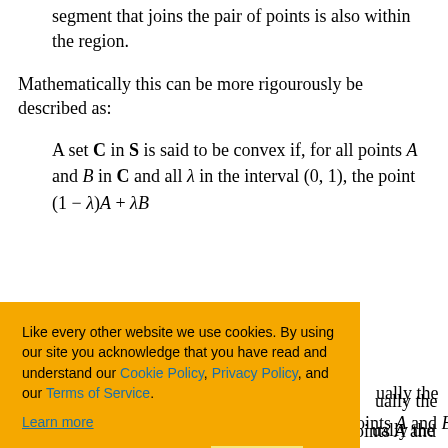segment that joins the pair of points is also within the region.
Mathematically this can be more rigourously be described as:
A set C in S is said to be convex if, for all points A and B in C and all λ in the interval (0, 1), the point (1 − λ)A + λB
...ually the ...oints A and B.
...mensional
A = (a₁, a₂, …, aᵢ, …, aₙ), in ℝⁿ
Like every other website we use cookies. By using our site you acknowledge that you have read and understand our Cookie Policy, Privacy Policy, and our Terms of Service. Learn more
Ask me later | Decline | Allow cookies